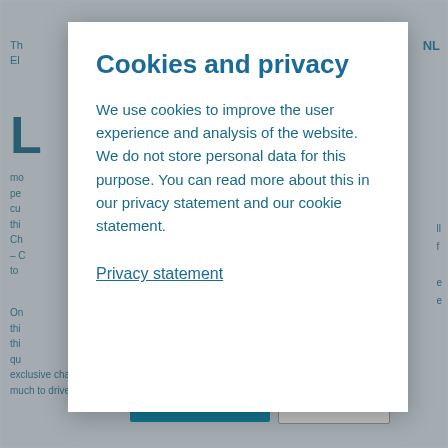Cookies and privacy
We use cookies to improve the user experience and analysis of the website. We do not store personal data for this purpose. You can read more about this in our privacy statement and our cookie statement.
Privacy statement